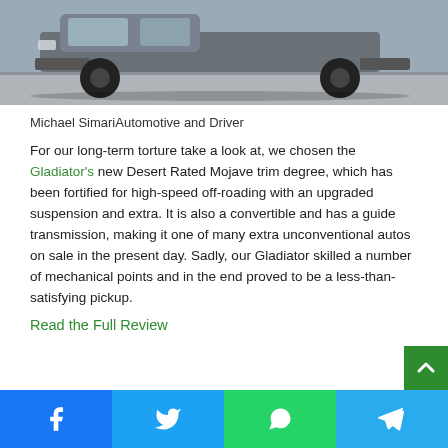[Figure (photo): Jeep Gladiator pickup truck side profile view, gray/silver color on a road surface]
Michael SimariAutomotive and Driver
For our long-term torture take a look at, we chosen the Gladiator's new Desert Rated Mojave trim degree, which has been fortified for high-speed off-roading with an upgraded suspension and extra. It is also a convertible and has a guide transmission, making it one of many extra unconventional autos on sale in the present day. Sadly, our Gladiator skilled a number of mechanical points and in the end proved to be a less-than-satisfying pickup.
Read the Full Review